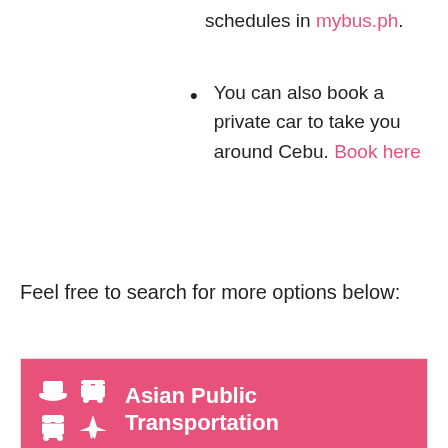schedules in mybus.ph.
You can also book a private car to take you around Cebu. Book here
Feel free to search for more options below:
[Figure (screenshot): Asian Public Transportation widget with transport icons (boat, bus, train, airplane) on pink header, and two location links: Bangkok and Chiang Mai]